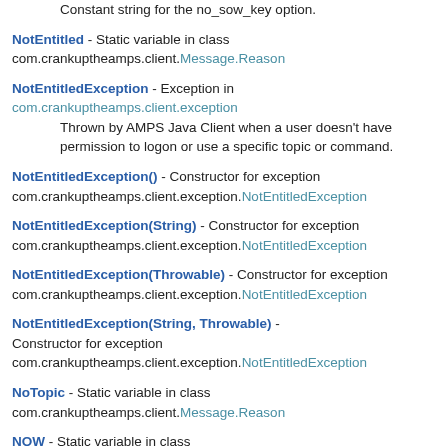Constant string for the no_sow_key option.
NotEntitled - Static variable in class com.crankuptheamps.client.Message.Reason
NotEntitledException - Exception in com.crankuptheamps.client.exception
    Thrown by AMPS Java Client when a user doesn't have permission to logon or use a specific topic or command.
NotEntitledException() - Constructor for exception com.crankuptheamps.client.exception.NotEntitledException
NotEntitledException(String) - Constructor for exception com.crankuptheamps.client.exception.NotEntitledException
NotEntitledException(Throwable) - Constructor for exception com.crankuptheamps.client.exception.NotEntitledException
NotEntitledException(String, Throwable) - Constructor for exception com.crankuptheamps.client.exception.NotEntitledException
NoTopic - Static variable in class com.crankuptheamps.client.Message.Reason
NOW - Static variable in class